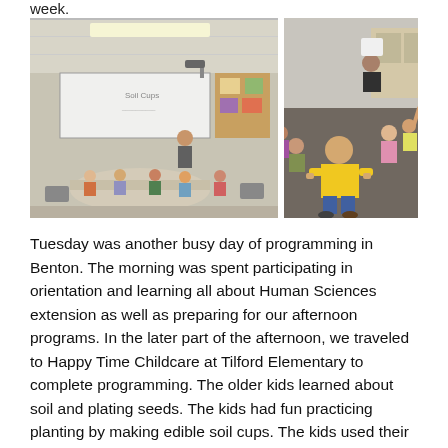week.
[Figure (photo): Two side-by-side classroom photos: left shows children seated at a round table facing a teacher at a whiteboard; right shows children seated on the floor facing a presenter.]
Tuesday was another busy day of programming in Benton. The morning was spent participating in orientation and learning all about Human Sciences extension as well as preparing for our afternoon programs. In the later part of the afternoon, we traveled to Happy Time Childcare at Tilford Elementary to complete programming. The older kids learned about soil and plating seeds. The kids had fun practicing planting by making edible soil cups. The kids used their imagination and planted various M&M “seeds”